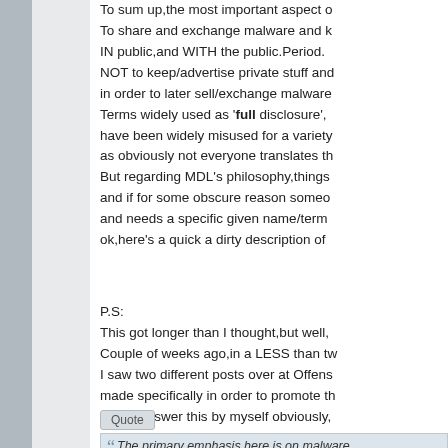To sum up,the most important aspect o To share and exchange malware and k IN public,and WITH the public.Period. NOT to keep/advertise private stuff and in order to later sell/exchange malware Terms widely used as 'full disclosure', have been widely misused for a variety as obviously not everyone translates th But regarding MDL's philosophy,things and if for some obscure reason someo and needs a specific given name/term ok,here's a quick a dirty description of
P.S:
This got longer than I thought,but well, Couple of weeks ago,in a LESS than tw I saw two different posts over at Offens made specifically in order to promote th I can't answer this by myself obviously, What I can do though,is to simply copy so that people can think in clear mind i actually respect the hard work that gets I've underlined the most important state
Quote
"The primary emphasis here is on malware